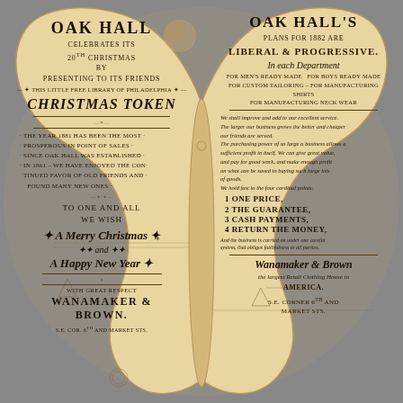[Figure (illustration): Butterfly-shaped Victorian advertising card for Oak Hall / Wanamaker & Brown, printed on aged cream/tan paper with decorative text on both wings.]
OAK HALL
CELEBRATES ITS 20TH CHRISTMAS BY PRESENTING TO ITS FRIENDS THIS LITTLE FREE LIBRARY OF PHILADELPHIA CHRISTMAS TOKEN
THE YEAR 1881 HAS BEEN THE MOST PROSPEROUS IN POINT OF SALES SINCE OAK HALL WAS ESTABLISHED IN 1861 - WE HAVE ENJOYED THE CONTINUED FAVOR OF OLD FRIENDS AND FOUND MANY NEW ONES
TO ONE AND ALL WE WISH A MERRY CHRISTMAS AND A HAPPY NEW YEAR
WITH GREAT RESPECT WANAMAKER & BROWN. S.E. COR. 6TH AND MARKET STS.
OAK HALL'S
PLANS FOR 1882 ARE LIBERAL & PROGRESSIVE In each Department FOR MEN'S READY MADE For BOYS READY MADE for CUSTOM TAILORING - For MANUFACTURING SHIRTS for MANUFACTURING NECK WEAR
We shall improve and add to our excellent service. The larger our business grows the better and cheaper our friends are served. The purchasing power of so large a business allows a sufficient profit in itself. We can give great value, and pay for good work, and make enough profit on what can be saved in buying such large lots of goods. We hold fast to the four cardinal points:
1 ONE PRICE,
2 THE GUARANTEE,
3 CASH PAYMENTS,
4 RETURN THE MONEY,
And the business is carried on under one careful system, that obliges faithfulness to all parties.
Wanamaker & Brown the largest Retail Clothing House in AMERICA. S.E. CORNER 6TH AND MARKET STS.